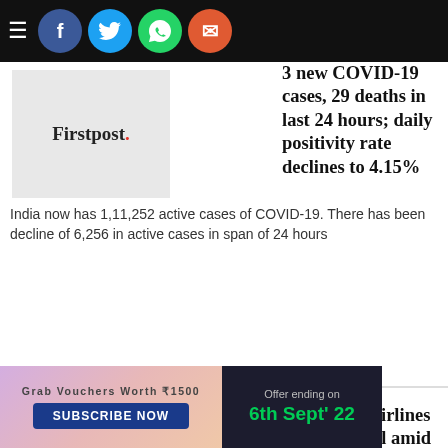[Figure (screenshot): Social media sharing bar with hamburger menu, Facebook, Twitter, WhatsApp, and email icons on dark background]
3 new COVID-19 cases, 29 deaths in last 24 hours; daily positivity rate declines to 4.15%
[Figure (logo): Firstpost logo thumbnail]
India now has 1,11,252 active cases of COVID-19. There has been decline of 6,256 in active cases in span of 24 hours
COVID-19: DGCA asks airlines to strictly enforce protocol amid rise in cases
[Figure (logo): Firstpost logo thumbnail]
Directorate General of Civil Aviation said it will be conducting "random checks" in aircraft across the country to see if the COVID-19 protocol is being enforced or not
Here's how COVID affects mental health and brain disorders up to two
[Figure (logo): Firstpost logo thumbnail]
[Figure (infographic): Advertisement banner: Grab Vouchers Worth ₹1500, Subscribe Now, Offer ending on 6th Sept' 22]